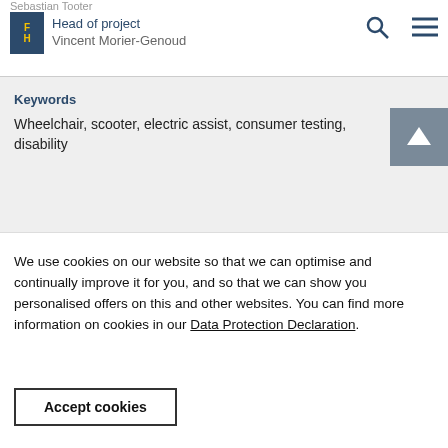Sebastian Tooter
Head of project
Vincent Morier-Genoud
Keywords
Wheelchair, scooter, electric assist, consumer testing, disability
We use cookies on our website so that we can optimise and continually improve it for you, and so that we can show you personalised offers on this and other websites. You can find more information on cookies in our Data Protection Declaration.
Accept cookies